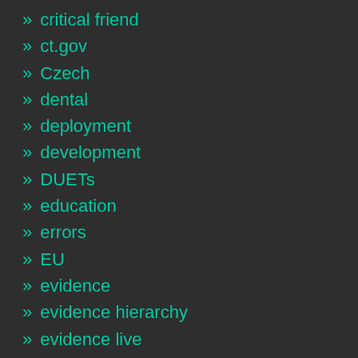» critical friend
» ct.gov
» Czech
» dental
» deployment
» development
» DUETs
» education
» errors
» EU
» evidence
» evidence hierarchy
» evidence live
» evidence service